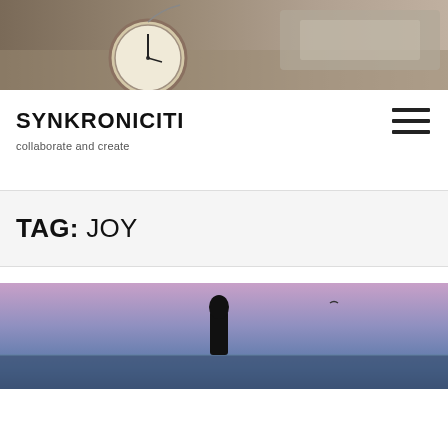[Figure (photo): A vintage pocket watch on a chain resting on sand, with stone/rock in the background]
SYNKRONICITI
collaborate and create
[Figure (illustration): Hamburger menu icon with three horizontal lines]
TAG: JOY
[Figure (photo): A silhouette of a person standing against a twilight sky with purple and blue hues over water]